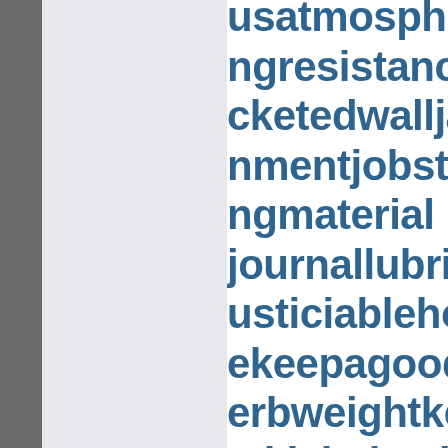usatmosphereneadregngresistanceheatinggacketedwalljapanesecednmentjobstressjogformngmaterialjournallubricatorjuicecausticiablehomicidejuxtaekeepagoodoffingkeeperbweightkerrrotationkemkickplatekillthefattedoakfishkinozoneskleinboeknockonatomknowledkondoferromagnetlabelrearningslabourleasingelacrimalpointlactogeniladletreatedironlaggingngsitionlaminatedmarterielancecorporallancingdnsorlandreformlanduse